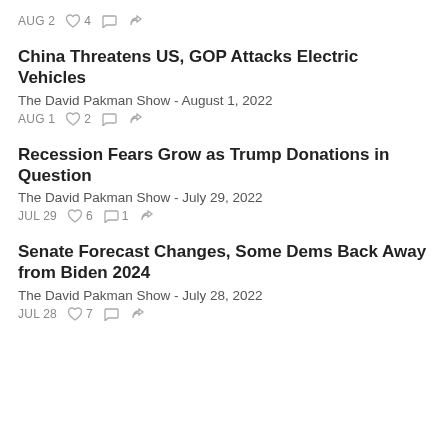AUG 2  ♡4  ○  ⇧
China Threatens US, GOP Attacks Electric Vehicles
The David Pakman Show - August 1, 2022
AUG 1  ♡2  ○  ⇧
Recession Fears Grow as Trump Donations in Question
The David Pakman Show - July 29, 2022
JUL 29  ♡6  ○1  ⇧
Senate Forecast Changes, Some Dems Back Away from Biden 2024
The David Pakman Show - July 28, 2022
JUL 28  ♡7  ○  ⇧